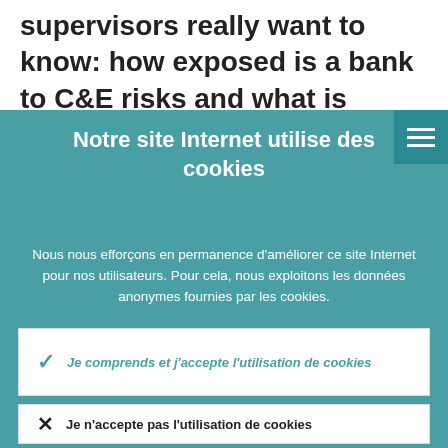supervisors really want to know: how exposed is a bank to C&E risks and what is
Notre site Internet utilise des cookies
Nous nous efforçons en permanence d'améliorer ce site Internet pour nos utilisateurs. Pour cela, nous exploitons les données anonymes fournies par les cookies.
En savoir davantage sur notre utilisation des cookies
Je comprends et j'accepte l'utilisation de cookies
Je n'accepte pas l'utilisation de cookies